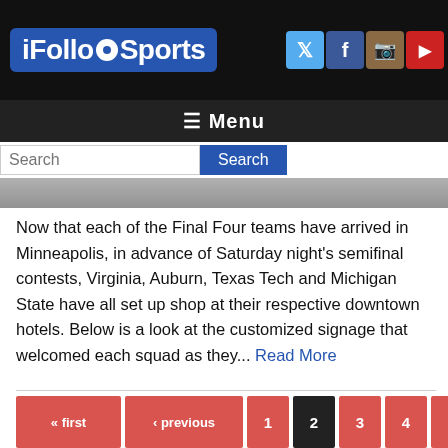iFolloSports
☰ Menu
Now that each of the Final Four teams have arrived in Minneapolis, in advance of Saturday night's semifinal contests, Virginia, Auburn, Texas Tech and Michigan State have all set up shop at their respective downtown hotels. Below is a look at the customized signage that welcomed each squad as they... Read More
« first
‹ previous
1
2
3
4
5
6
next ›
last »